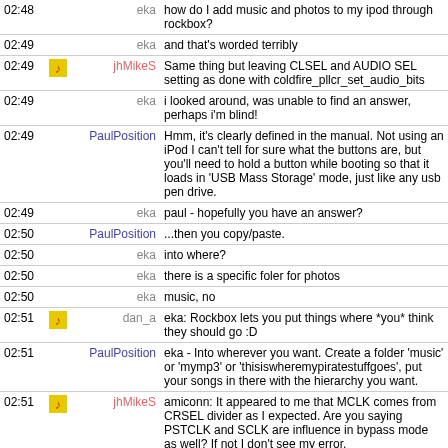02:48 eka how do I add music and photos to my ipod through rockbox?
02:49 eka and that's worded terribly
02:49 jhMikeS Same thing but leaving CLSEL and AUDIO SEL setting as done with coldfire_pllcr_set_audio_bits
02:49 eka i looked around, was unable to find an answer, perhaps i'm blind!
02:49 PaulPosition Hmm, it's clearly defined in the manual. Not using an iPod I can't tell for sure what the buttons are, but you'll need to hold a button while booting so that it loads in 'USB Mass Storage' mode, just like any usb pen drive.
02:49 eka paul - hopefully you have an answer?
02:50 PaulPosition ...then you copy/paste.
02:50 eka into where?
02:50 eka there is a specific foler for photos
02:50 eka music, no
02:51 dan_a eka: Rockbox lets you put things where *you* think they should go :D
02:51 PaulPosition eka - Into wherever you want. Create a folder 'music' or 'mymp3' or 'thisiswheremypiratestuffgoes', put your songs in there with the hierarchy you want.
02:51 jhMikeS amiconn: It appeared to me that MCLK comes from CRSEL divider as I expected. Are you saying PSTCLK and SCLK are influence in bypass mode as well? If not I don't see my error.
02:51 eka haha you're kidding?